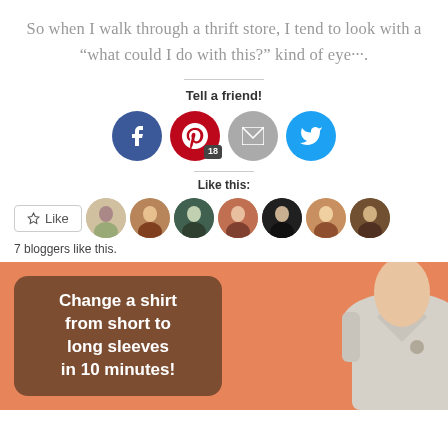So when I walk through a thrift store, I tend to look with a “what could I do with this?” kind of eye···.
Tell a friend!
[Figure (infographic): Social sharing buttons: Facebook (blue circle), Pinterest (red circle with 18 badge), Email (grey circle), Twitter (blue circle)]
Like this:
[Figure (infographic): Like button and 7 blogger avatar thumbnails]
7 bloggers like this.
[Figure (photo): Image of a shirt on orange background with text overlay reading: Change a shirt from short to long sleeves in 10 minutes!]